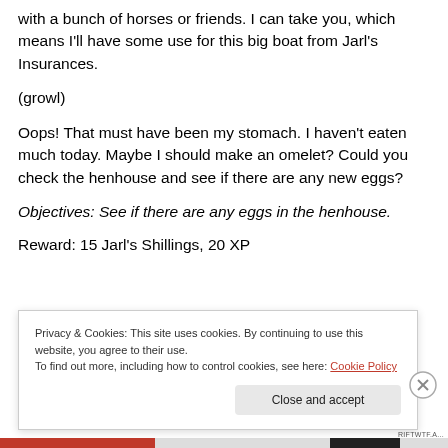with a bunch of horses or friends. I can take you, which means I'll have some use for this big boat from Jarl's Insurances.
(growl)
Oops! That must have been my stomach. I haven't eaten much today. Maybe I should make an omelet? Could you check the henhouse and see if there are any new eggs?
Objectives: See if there are any eggs in the henhouse.
Reward: 15 Jarl's Shillings, 20 XP
Privacy & Cookies: This site uses cookies. By continuing to use this website, you agree to their use.
To find out more, including how to control cookies, see here: Cookie Policy
Close and accept